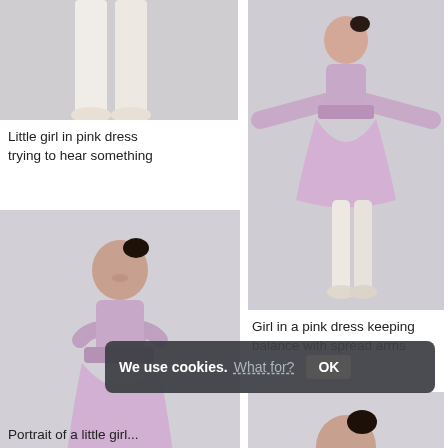[Figure (photo): Close-up of a little girl's legs in white tights and slippers, wearing a pink dress, gray background]
[Figure (photo): Full body shot of a young girl in a pink tulle dress with satin bow belt, arms spread out for balance, white tights, gray background]
Little girl in pink dress trying to hear something
[Figure (photo): Young girl in pink tulle dress hugging herself, smiling, white tights, gray background]
Girl in a pink dress keeping balance with spread arms
[Figure (photo): Young girl in pink dress, partially visible at bottom right, gray background]
We use cookies. What for? OK
Portrait of a little girl...